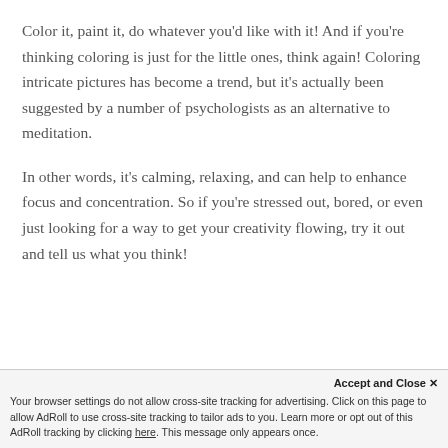Color it, paint it, do whatever you'd like with it! And if you're thinking coloring is just for the little ones, think again! Coloring intricate pictures has become a trend, but it's actually been suggested by a number of psychologists as an alternative to meditation.
In other words, it's calming, relaxing, and can help to enhance focus and concentration. So if you're stressed out, bored, or even just looking for a way to get your creativity flowing, try it out and tell us what you think!
Accept and Close ✕
Your browser settings do not allow cross-site tracking for advertising. Click on this page to allow AdRoll to use cross-site tracking to tailor ads to you. Learn more or opt out of this AdRoll tracking by clicking here. This message only appears once.